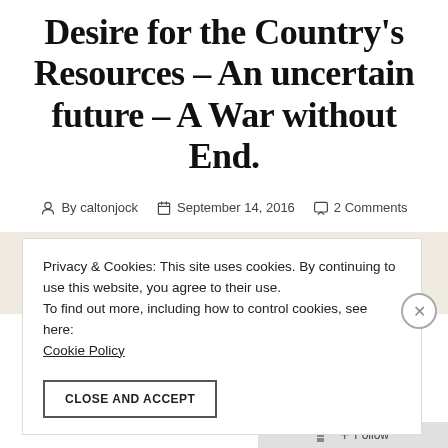Desire for the Country's Resources – An uncertain future – A War without End.
By caltonjock   September 14, 2016   2 Comments
Privacy & Cookies: This site uses cookies. By continuing to use this website, you agree to their use. To find out more, including how to control cookies, see here: Cookie Policy
CLOSE AND ACCEPT